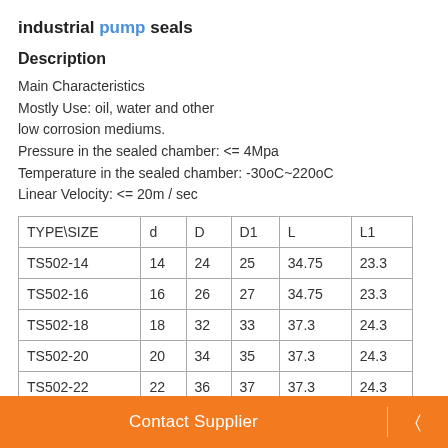industrial pump seals
Description
Main Characteristics
Mostly Use: oil, water and other
low corrosion mediums.
Pressure in the sealed chamber: <= 4Mpa
Temperature in the sealed chamber: -30oC~220oC
Linear Velocity: <= 20m / sec
| TYPE\SIZE | d | D | D1 | L | L1 |
| --- | --- | --- | --- | --- | --- |
| TS502-14 | 14 | 24 | 25 | 34.75 | 23.3 |
| TS502-16 | 16 | 26 | 27 | 34.75 | 23.3 |
| TS502-18 | 18 | 32 | 33 | 37.3 | 24.3 |
| TS502-20 | 20 | 34 | 35 | 37.3 | 24.3 |
| TS502-22 | 22 | 36 | 37 | 37.3 | 24.3 |
Contact Supplier